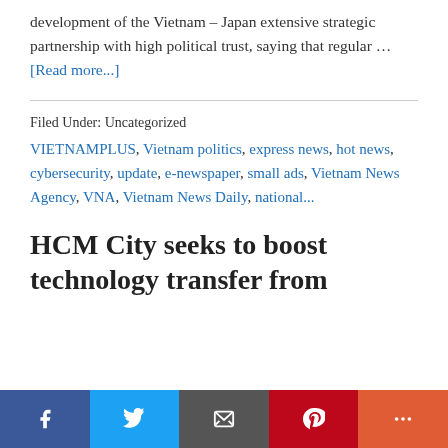development of the Vietnam – Japan extensive strategic partnership with high political trust, saying that regular … [Read more...]
Filed Under: Uncategorized
VIETNAMPLUS, Vietnam politics, express news, hot news, cybersecurity, update, e-newspaper, small ads, Vietnam News Agency, VNA, Vietnam News Daily, national...
HCM City seeks to boost technology transfer from